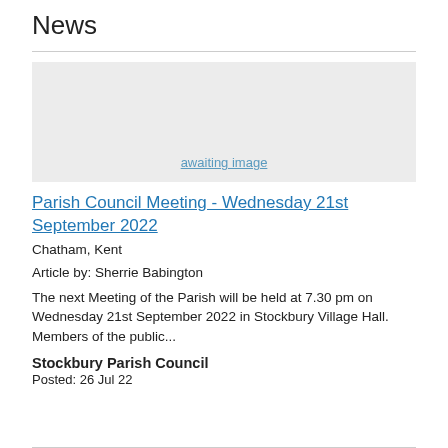News
[Figure (other): Image placeholder with 'awaiting image' link text on grey background]
Parish Council Meeting - Wednesday 21st September 2022
Chatham, Kent
Article by: Sherrie Babington
The next Meeting of the Parish will be held at 7.30 pm on Wednesday 21st September 2022 in Stockbury Village Hall. Members of the public...
Stockbury Parish Council
Posted: 26 Jul 22